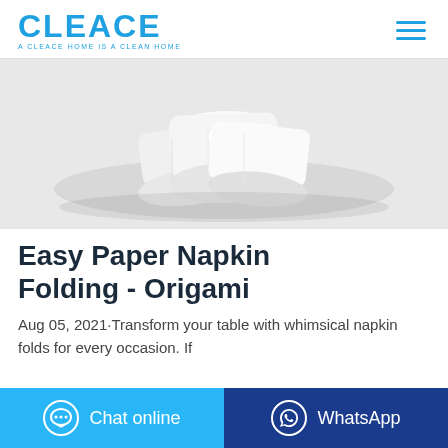CLEACE — A CLEACE HOME IS A CLEAN HOME
[Figure (photo): Photo of white folded paper napkins stacked on a light gray background]
Easy Paper Napkin Folding - Origami
Aug 05, 2021·Transform your table with whimsical napkin folds for every occasion. If